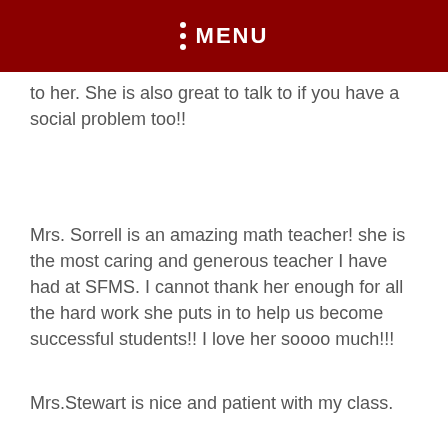MENU
to her. She is also great to talk to if you have a social problem too!!
Mrs. Sorrell is an amazing math teacher! she is the most caring and generous teacher I have had at SFMS. I cannot thank her enough for all the hard work she puts in to help us become successful students!! I love her soooo much!!!
Mrs.Stewart is nice and patient with my class.